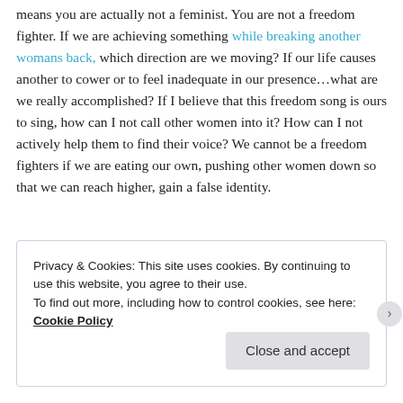means you are actually not a feminist. You are not a freedom fighter. If we are achieving something while breaking another womans back, which direction are we moving? If our life causes another to cower or to feel inadequate in our presence…what are we really accomplished? If I believe that this freedom song is ours to sing, how can I not call other women into it? How can I not actively help them to find their voice? We cannot be a freedom fighters if we are eating our own, pushing other women down so that we can reach higher, gain a false identity.
Privacy & Cookies: This site uses cookies. By continuing to use this website, you agree to their use.
To find out more, including how to control cookies, see here: Cookie Policy